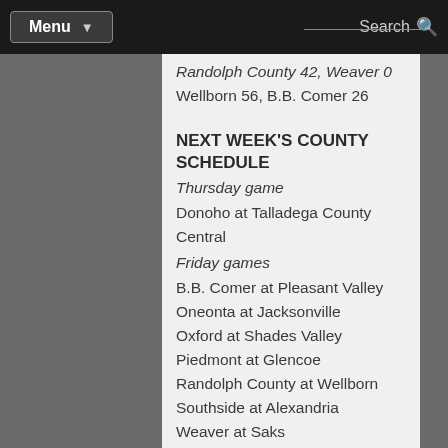Menu | Search
Randolph County 42, Weaver 0
Wellborn 56, B.B. Comer 26
NEXT WEEK'S COUNTY SCHEDULE
Thursday game
Donoho at Talladega County Central
Friday games
B.B. Comer at Pleasant Valley
Oneonta at Jacksonville
Oxford at Shades Valley
Piedmont at Glencoe
Randolph County at Wellborn
Southside at Alexandria
Weaver at Saks
White Plains at Anniston
STATEWIDE SCORES
CLASS 7A
Bob Jones 21, Grissom 2